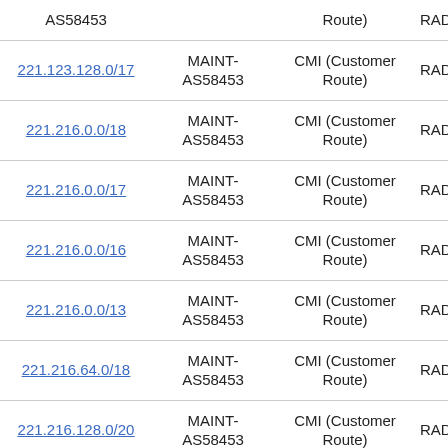| IP Prefix | Maint | Type | ... |
| --- | --- | --- | --- |
| AS58453 | Route) |  |  |
| 221.123.128.0/17 | MAINT-AS58453 | CMI (Customer Route) | RAD |
| 221.216.0.0/18 | MAINT-AS58453 | CMI (Customer Route) | RAD |
| 221.216.0.0/17 | MAINT-AS58453 | CMI (Customer Route) | RAD |
| 221.216.0.0/16 | MAINT-AS58453 | CMI (Customer Route) | RAD |
| 221.216.0.0/13 | MAINT-AS58453 | CMI (Customer Route) | RAD |
| 221.216.64.0/18 | MAINT-AS58453 | CMI (Customer Route) | RAD |
| 221.216.128.0/20 | MAINT-AS58453 | CMI (Customer Route) | RAD |
| 221.216.128.0/18 | MAINT- | CMI (Customer | RAD |